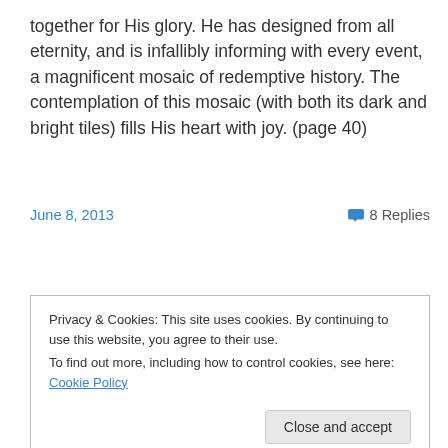together for His glory. He has designed from all eternity, and is infallibly informing with every event, a magnificent mosaic of redemptive history. The contemplation of this mosaic (with both its dark and bright tiles) fills His heart with joy. (page 40)
~Guest writer: Sue Weaver~
June 8, 2013
8 Replies
Privacy & Cookies: This site uses cookies. By continuing to use this website, you agree to their use. To find out more, including how to control cookies, see here: Cookie Policy